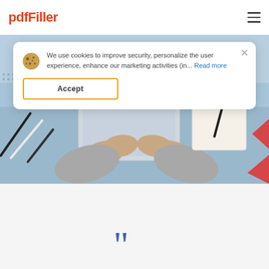[Figure (logo): pdfFiller logo in red/orange text]
We use cookies to improve security, personalize the user experience, enhance our marketing activities (in... Read more
Accept
[Figure (photo): Overhead view of a person's hands on a laptop on a blue desk with pens and a notebook]
[Figure (illustration): Partial quotation mark illustration at bottom center of page]